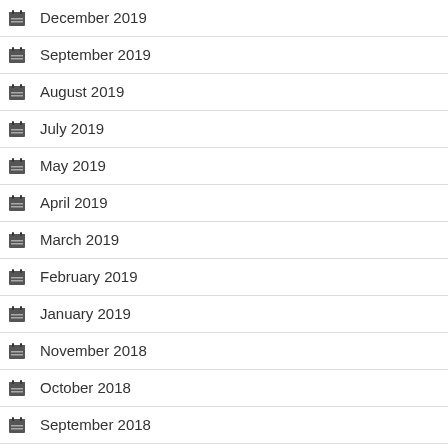December 2019
September 2019
August 2019
July 2019
May 2019
April 2019
March 2019
February 2019
January 2019
November 2018
October 2018
September 2018
August 2018